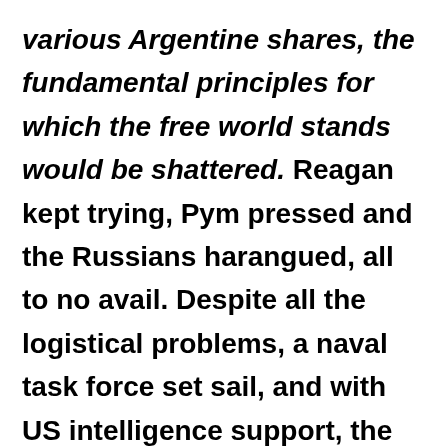various Argentine shares, the fundamental principles for which the free world stands would be shattered. Reagan kept trying, Pym pressed and the Russians harangued, all to no avail. Despite all the logistical problems, a naval task force set sail, and with US intelligence support, the islands were regained after some fierce fighting.

Back in London in the spring of 1984